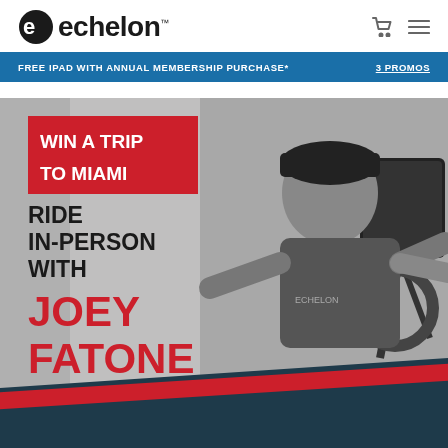[Figure (logo): Echelon brand logo with stylized 'e' icon and wordmark 'echelon' with trademark symbol]
FREE IPAD WITH ANNUAL MEMBERSHIP PURCHASE*    3 PROMOS
[Figure (photo): Promotional banner showing a man in black hat and Echelon shirt standing next to a spin bike with a screen. Text overlay reads: WIN A TRIP TO MIAMI / RIDE IN-PERSON WITH / JOEY FATONE. Background transitions from grey photo at top to dark teal with red diagonal at bottom.]